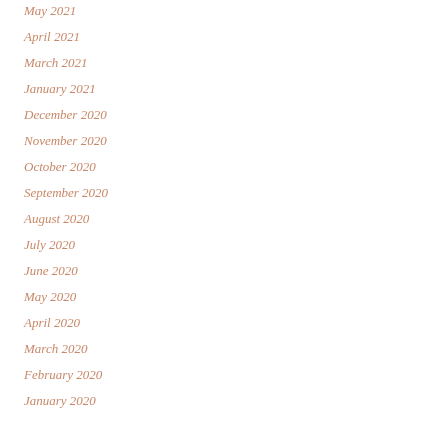May 2021
April 2021
March 2021
January 2021
December 2020
November 2020
October 2020
September 2020
August 2020
July 2020
June 2020
May 2020
April 2020
March 2020
February 2020
January 2020